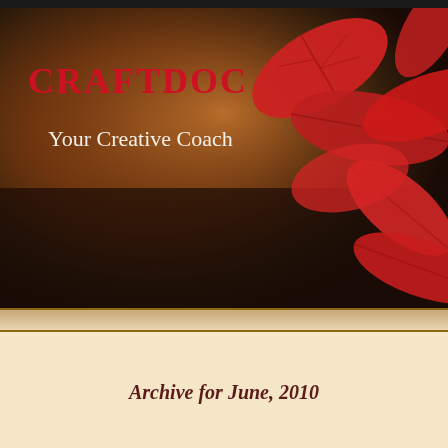[Figure (photo): Dark autumnal background with blurred brown/red bokeh and vivid red autumn leaves on the right side, serving as hero banner background]
CRAFTDOC
Your Creative Coach
Archive for June, 2010
New Catalogs are Here